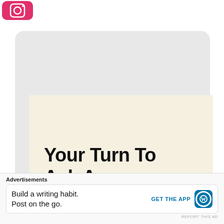[Figure (screenshot): Instagram app icon (pink/red rounded square with camera icon)]
[Figure (illustration): Gray rounded chat bubble (left-aligned tail) forming the background of a message]
Your Turn To Ask Any Questions!
[Figure (illustration): Close/dismiss button (circled X) in the bottom right of the chat area]
Advertisements
Build a writing habit. Post on the go.
GET THE APP
[Figure (logo): WordPress logo — blue rounded square with W circle icon]
REPORT THIS AD